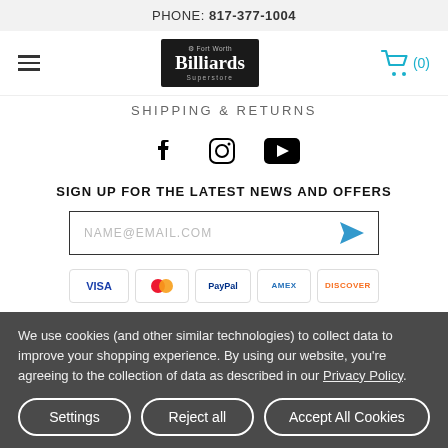PHONE: 817-377-1004
[Figure (logo): Fort Worth Billiards Superstore logo - white text on black background]
SHIPPING & RETURNS
[Figure (infographic): Social media icons: Facebook, Instagram, YouTube]
SIGN UP FOR THE LATEST NEWS AND OFFERS
NAME@EMAIL.COM
[Figure (infographic): Payment method badges: VISA, Mastercard, PayPal, Amex, Discover]
We use cookies (and other similar technologies) to collect data to improve your shopping experience. By using our website, you're agreeing to the collection of data as described in our Privacy Policy.
Settings | Reject all | Accept All Cookies